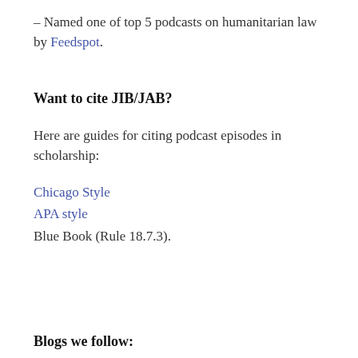– Named one of top 5 podcasts on humanitarian law by Feedspot.
Want to cite JIB/JAB?
Here are guides for citing podcast episodes in scholarship:
Chicago Style
APA style
Blue Book (Rule 18.7.3).
Blogs we follow: